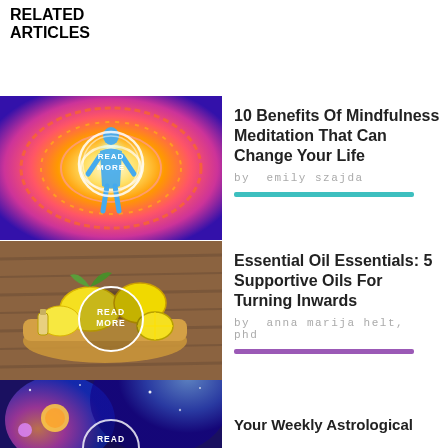RELATED ARTICLES
[Figure (photo): Colorful mandala/aura artwork with blue meditating human silhouette, swirling warm colors. Has circular READ MORE button overlay.]
10 Benefits Of Mindfulness Meditation That Can Change Your Life
by  emily szajda
[Figure (photo): Lemons on a wooden tray with a small bottle of essential oil. Has circular READ MORE button overlay.]
Essential Oil Essentials: 5 Supportive Oils For Turning Inwards
by  anna marija helt, phd
[Figure (photo): Cosmic/galaxy artwork with planets and nebula colors. Has circular READ MORE button overlay (partially visible).]
Your Weekly Astrological